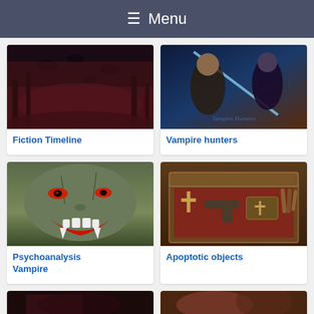Menu
[Figure (photo): Dark horror image showing silhouettes of creatures in a dark reddish forest scene]
Fiction Timeline
[Figure (photo): Colorful fantasy game art showing vampire hunters characters with swords and supernatural elements, titled Vampire Hunters]
Vampire hunters
[Figure (photo): Horror illustration of a green monstrous face with glowing red eyes and open mouth showing fangs]
Psychoanalysis Vampire
[Figure (photo): Photo of an antique wooden box containing vampire hunting kit items including a crucifix, pistol, and bible]
Apoptotic objects
[Figure (photo): Partial dark horror image at bottom left]
[Figure (photo): Partial reddish horror image at bottom right]